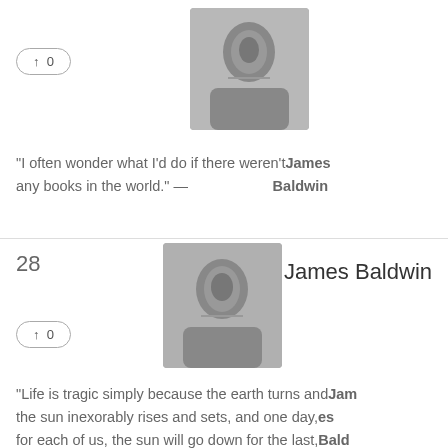[Figure (photo): Black and white portrait photo of James Baldwin (top card, partially cropped)]
↑ 0
"I often wonder what I'd do if there weren't any books in the world." — James Baldwin
28
James Baldwin
[Figure (photo): Black and white portrait photo of James Baldwin (bottom card)]
↑ 0
"Life is tragic simply because the earth turns and the sun inexorably rises and sets, and one day, for each of us, the sun will go down for the last, Jam es Bald